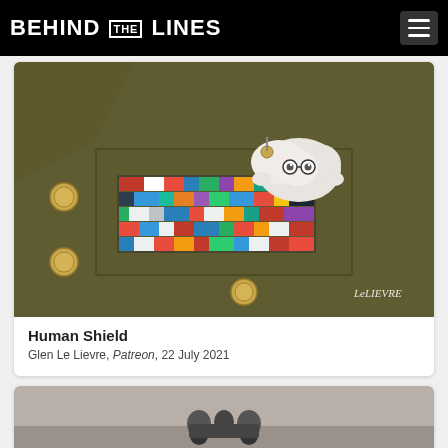BEHIND THE LINES
[Figure (photo): Close-up photograph of a military uniform jacket (olive/khaki color) with colorful medal ribbons on the chest pocket, gold buttons, and a small cartoon-style character (fluffy white creature with glasses) peeking over the top of the ribbons. Signed 'Le Lievre' in the bottom right corner.]
Human Shield
Glen Le Lievre, Patreon, 22 July 2021
[Figure (photo): Partial view of a second image below, appearing to show a black and white photograph with small figures/characters on some kind of vehicle or equipment.]